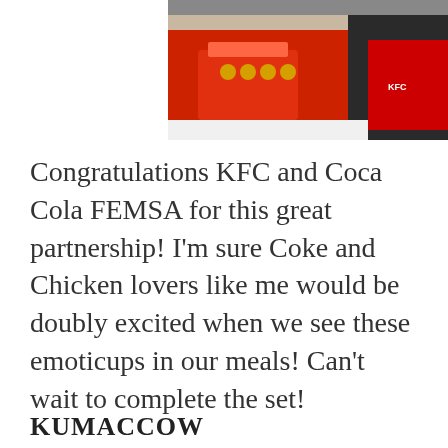[Figure (photo): Photo of a KFC event showing red themed decorations, a cake, and a KFC-branded apron worn by a person. Colorful party setting visible.]
Congratulations KFC and Coca Cola FEMSA for this great partnership! I'm sure Coke and Chicken lovers like me would be doubly excited when we see these emoticups in our meals! Can't wait to complete the set!
KUMACCOW